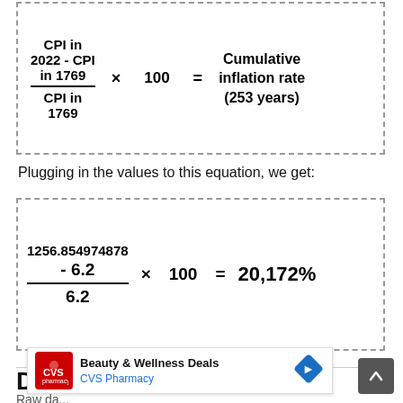Plugging in the values to this equation, we get:
Data source & citation
Raw da...